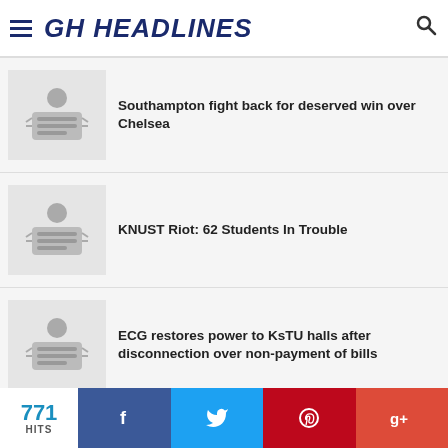GH HEADLINES
Southampton fight back for deserved win over Chelsea
KNUST Riot: 62 Students In Trouble
ECG restores power to KsTU halls after disconnection over non-payment of bills
Stonebwoy Praised For Cleaning Ashaiman Choked Gutters
771 HITS